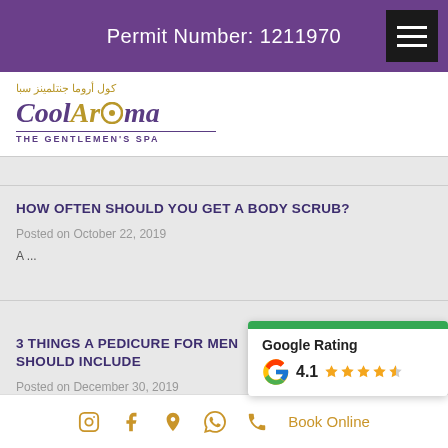Permit Number: 1211970
[Figure (logo): CoolAroma The Gentlemen's Spa logo with Arabic text]
HOW OFTEN SHOULD YOU GET A BODY SCRUB?
Posted on October 22, 2019
A ...
3 THINGS A PEDICURE FOR MEN SHOULD INCLUDE
Posted on December 30, 2019
When it comes to male gro...
[Figure (infographic): Google Rating widget showing 4.1 stars]
Instagram | Facebook | Location | WhatsApp | Phone | Book Online